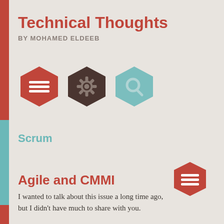Technical Thoughts
BY MOHAMED ELDEEB
[Figure (illustration): Three hexagonal icons: a red hexagon with a list/menu icon, a dark brown hexagon with a gear/settings icon, and a teal hexagon with a magnifying glass/search icon]
Scrum
Agile and CMMI
[Figure (illustration): A red hexagon with a list/menu icon, positioned at the right side of the article title row]
I wanted to talk about this issue a long time ago, but I didn't have much to share with you.